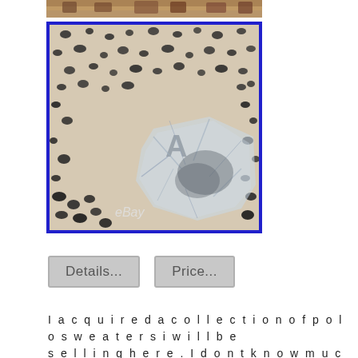[Figure (photo): Partial view of a knitted sweater with dark pattern on cream/beige background, showing a cut or damaged area with plastic bag visible.]
[Figure (photo): Close-up of a knitted polo sweater with dark bird/leaf pattern on cream background, showing damage and a plastic bag with letter 'A' label, eBay watermark visible at bottom.]
Details...
Price...
I acquired a collection of polo sweaters i will be selling here. I dont know much about these & i